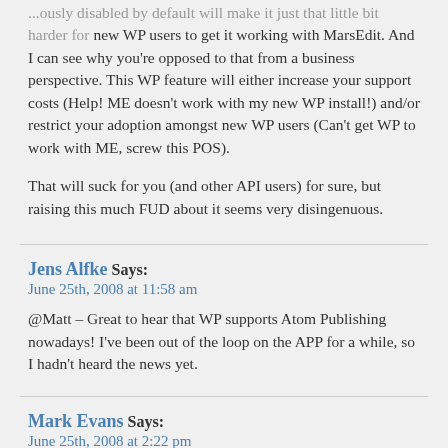...ously disabled by default will make it just that little bit harder for new WP users to get it working with MarsEdit. And I can see why you're opposed to that from a business perspective. This WP feature will either increase your support costs (Help! ME doesn't work with my new WP install!) and/or restrict your adoption amongst new WP users (Can't get WP to work with ME, screw this POS).
That will suck for you (and other API users) for sure, but raising this much FUD about it seems very disingenuous.
Jens Alfke Says:
June 25th, 2008 at 11:58 am
@Matt – Great to hear that WP supports Atom Publishing nowadays! I've been out of the loop on the APP for a while, so I hadn't heard the news yet.
Mark Evans Says:
June 25th, 2008 at 2:22 pm
As an Ecto user, the proposed change in 2.6 is a small aggravation but not a show stopper. As long as WordPress is clear about what people using third-party publishing tools need to do, that would be